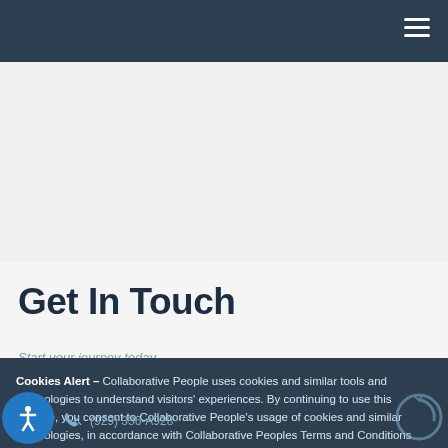Navigation header bar
Get In Touch
Start your journey today...
Cookies Alert – Collaborative People uses cookies and similar tools and technologies to understand visitors' experiences. By continuing to use this website, you consent to Collaborative People's usage of cookies and similar technologies, in accordance with Collaborative Peoples Terms and Conditions and Privacy Policy Learn more
(929) 336-A928